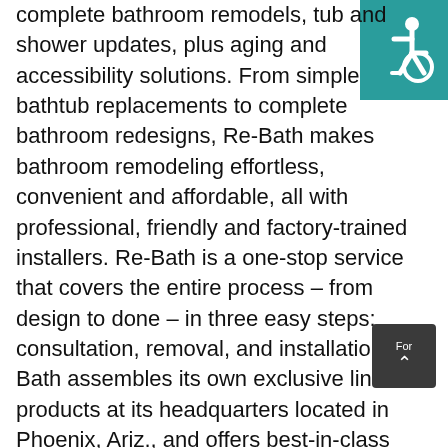[Figure (logo): International Symbol of Access (wheelchair accessibility icon) in white on teal/turquoise background, top right corner]
complete bathroom remodels, tub and shower updates, plus aging and accessibility solutions. From simple bathtub replacements to complete bathroom redesigns, Re-Bath makes bathroom remodeling effortless, convenient and affordable, all with professional, friendly and factory-trained installers. Re-Bath is a one-stop service that covers the entire process – from design to done – in three easy steps: consultation, removal, and installation. Re-Bath assembles its own exclusive line of products at its headquarters located in Phoenix, Ariz., and offers best-in-class products from national brands for its customers. For more information please visit www.rebath.com or
[Figure (other): Dark gray scroll-to-top button with 'For' text and upward chevron arrow]